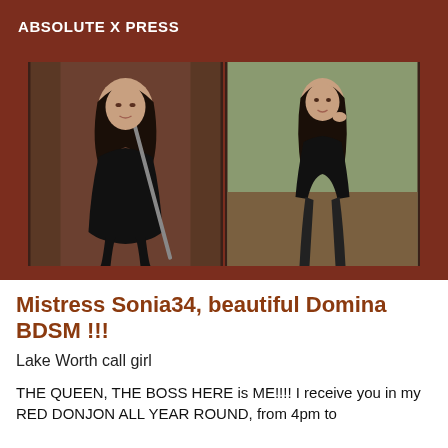ABSOLUTE X PRESS
[Figure (photo): Two photos side by side of a woman in black latex/leather outfit; left photo shows her posing with a sword, right photo shows her standing in a short dress with stockings.]
Mistress Sonia34, beautiful Domina BDSM !!!
Lake Worth call girl
THE QUEEN, THE BOSS HERE is ME!!!! I receive you in my RED DONJON ALL YEAR ROUND, from 4pm to